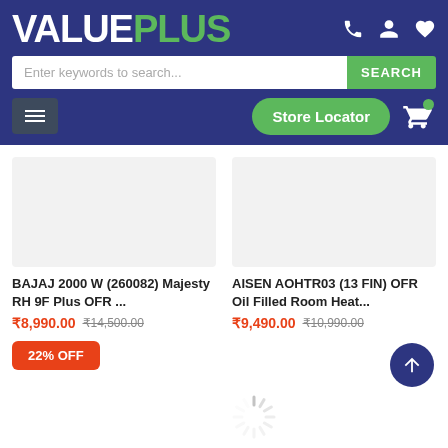[Figure (screenshot): ValuePlus e-commerce website header with logo, search bar, navigation, and product listings for room heaters]
VALUE PLUS
Enter keywords to search...
SEARCH
Store Locator
BAJAJ 2000 W (260082) Majesty RH 9F Plus OFR ...
₹8,990.00  ₹14,500.00
AISEN AOHTR03 (13 FIN) OFR Oil Filled Room Heat...
₹9,490.00  ₹10,990.00
22% OFF